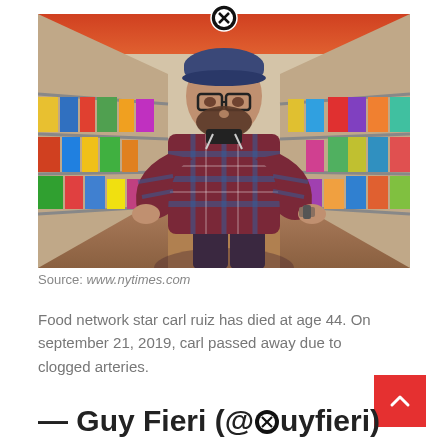[Figure (photo): Man in plaid shirt and baseball cap standing in a grocery store aisle with hands on hips, shelves visible on both sides]
Source: www.nytimes.com
Food network star carl ruiz has died at age 44. On september 21, 2019, carl passed away due to clogged arteries.
— Guy Fieri (@⊗uyfieri)